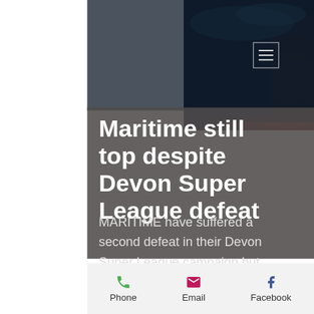menu icon / navigation
Maritime still top despite Devon Super League defeat
MARITIME have suffered a second defeat in their Devon Super League campaign but, with a reduced lead of four points, still top the premier division.
They were edged out 5-4 by Royal Anglers (Bideford), despite holding a 3-
Phone  Email  Facebook